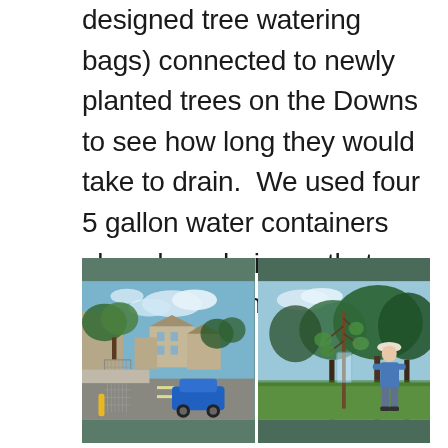designed tree watering bags) connected to newly planted trees on the Downs to see how long they would take to drain.  We used four 5 gallon water containers placed on chairs so that they were high enough and then siphoned the water into the bag.
[Figure (photo): Two outdoor photos side by side. Left: A street scene with a tree cage/guard on a pavement, buildings and parked cars including a blue car visible. Right: A person standing next to a young tree with a transparent bag attached, large trees in the background.]